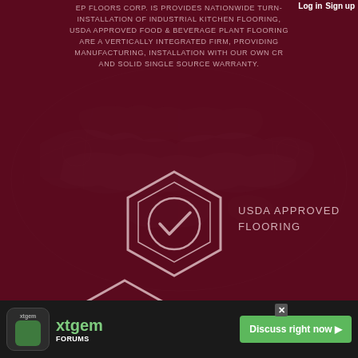EP FLOORS CORP. IS PROVIDES NATIONWIDE TURN-KEY INSTALLATION OF INDUSTRIAL KITCHEN FLOORING, USDA APPROVED FOOD & BEVERAGE PLANT FLOORING. WE ARE A VERTICALLY INTEGRATED FIRM, PROVIDING MANUFACTURING, INSTALLATION WITH OUR OWN CREWS AND SOLID SINGLE SOURCE WARRANTY.
[Figure (infographic): Hexagon icon with checkmark circle for USDA APPROVED FLOORING]
USDA APPROVED FLOORING
[Figure (infographic): Hexagon icon with antimicrobial shield badge for ANTI MICROBIAL FLOORING]
ANTI MICROBIAL FLOORING
[Figure (infographic): Hexagon icon with #10 text for TOP TEN REASONS TO CHOOSE EP FLOORS]
TOP TEN REASONS TO CHOOSE EP FLOORS